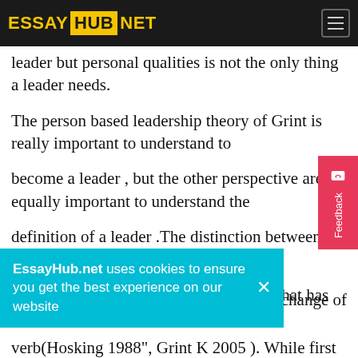ESSAYHUB.NET
leader but personal qualities is not the only thing a leader needs.
The person based leadership theory of Grint is really important to understand to
become a leader , but the other perspective are equally important to understand the
definition of a leader .The distinction between Grint’s leadership ‘based on person’ and
leadership ‘based on process’ is the one that has developed in wider leadership
ant change of
verb(Hosking 1988”, Grint K 2005 ). While first
EssayHub.net uses cookies to ensure you get the best experience on our website